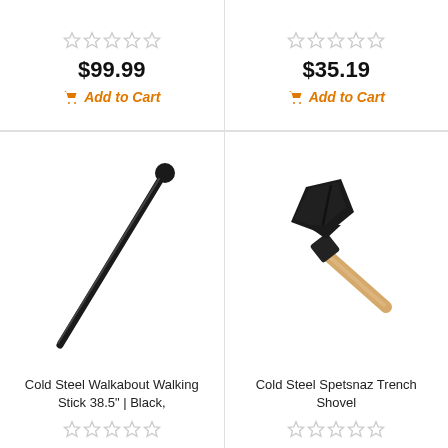$99.99
Add to Cart
$35.19
Add to Cart
[Figure (photo): Cold Steel Walkabout Walking Stick 38.5 inch in black, shown diagonally against white background]
Cold Steel Walkabout Walking Stick 38.5" | Black,
[Figure (photo): Cold Steel Spetsnaz Trench Shovel with black blade and wood handle, shown diagonally against white background]
Cold Steel Spetsnaz Trench Shovel